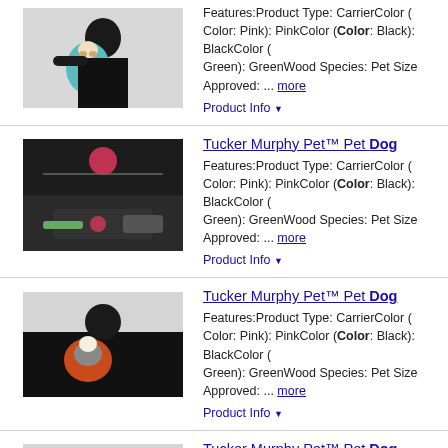[Figure (photo): Woman in black shirt holding a teal/blue pet carrier sling with a small dog inside]
Features:Product Type: CarrierColor (Color: Pink): PinkColor (Color: Black): BlackColor (Color: Green): GreenWood Species: Pet Size Approved: ... more
Product Info ▼
[Figure (photo): Two images of a pet carrier sling bag showing its features and zipper detail]
Tucker Murphy Pet™ Pet Dog ...
Features:Product Type: CarrierColor (Color: Pink): PinkColor (Color: Black): BlackColor (Color: Green): GreenWood Species: Pet Size Approved: ... more
Product Info ▼
[Figure (photo): Woman in black shirt with gray/orange pet carrier sling holding a small white dog]
Tucker Murphy Pet™ Pet Dog ...
Features:Product Type: CarrierColor (Color: Pink): PinkColor (Color: Black): BlackColor (Color: Green): GreenWood Species: Pet Size Approved: ... more
Product Info ▼
[Figure (photo): Woman in black shirt with gray/green pet carrier sling holding a small white dog]
Tucker Murphy Pet™ Pet Dog ...
Features:Product Type: CarrierColor (Color: Pink): PinkColor (Color: Black): BlackColor (Color: Green): GreenWood Species: Pet Size Approved: ... more
Product Info ▼
Tucker Murphy Pet™ Pet Dog ...